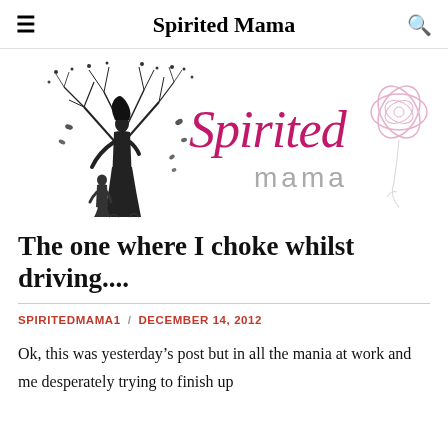Spirited Mama
[Figure (logo): Spirited Mama blog logo: silhouette of a mother and child under a bare tree on the left, and stylized cursive 'Spirited mama' script with an orchid flower on the right, in pink and black/gray tones]
The one where I choke whilst driving....
SPIRITEDMAMA1 / DECEMBER 14, 2012
Ok, this was yesterday's post but in all the mania at work and me desperately trying to finish up